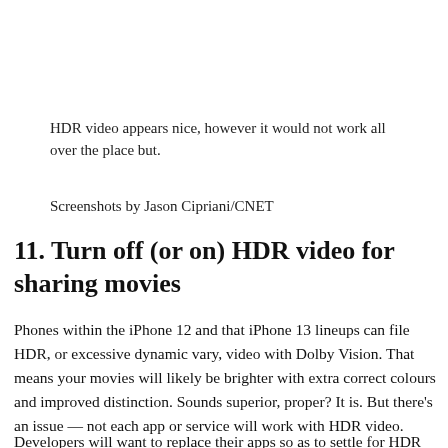HDR video appears nice, however it would not work all over the place but.
Screenshots by Jason Cipriani/CNET
11. Turn off (or on) HDR video for sharing movies
Phones within the iPhone 12 and that iPhone 13 lineups can file HDR, or excessive dynamic vary, video with Dolby Vision. That means your movies will likely be brighter with extra correct colours and improved distinction. Sounds superior, proper? It is. But there’s an issue — not each app or service will work with HDR video.
Developers will want to replace their apps so as to settle for HDR